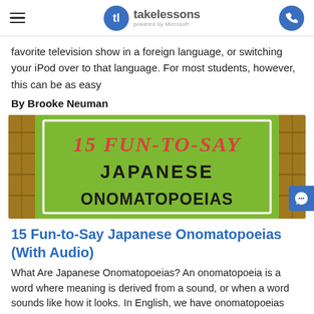takelessons powered by Microsoft
favorite television show in a foreign language, or switching your iPod over to that language. For most students, however, this can be as easy
By Brooke Neuman
[Figure (illustration): Decorative image with text '15 FUN-TO-SAY JAPANESE ONOMATOPOEIAS' on a green background with bamboo border]
15 Fun-to-Say Japanese Onomatopoeias (With Audio)
What Are Japanese Onomatopoeias? An onomatopoeia is a word where meaning is derived from a sound, or when a word sounds like how it looks. In English, we have onomatopoeias